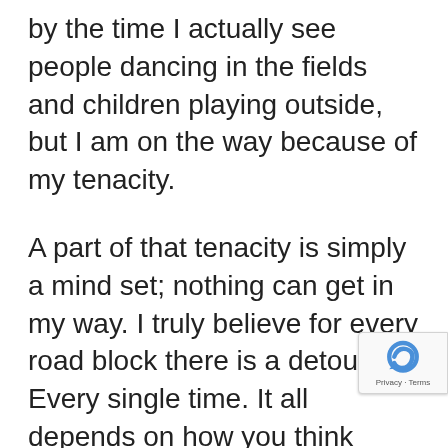by the time I actually see people dancing in the fields and children playing outside, but I am on the way because of my tenacity.
A part of that tenacity is simply a mind set; nothing can get in my way. I truly believe for every road block there is a detour. Every single time. It all depends on how you think about it. Going back to this workshop that I just took, there was one exercise where Jennie guided us in a meditative exercise where we had to climb a mountain (in our mind, of course, not for real, ok?). It was to climb and we were told that we woul be hurt in anyway and to just give 'er up this